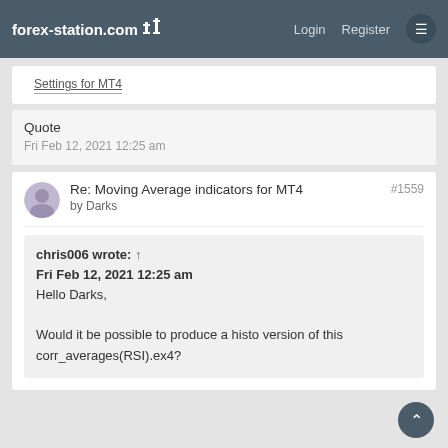forex-station.com | Login | Register
Settings for MT4
Quote
Fri Feb 12, 2021 12:25 am
Re: Moving Average indicators for MT4 #1559
by Darks
chris006 wrote: ↑
Fri Feb 12, 2021 12:25 am
Hello Darks,

Would it be possible to produce a histo version of this corr_averages(RSI).ex4?